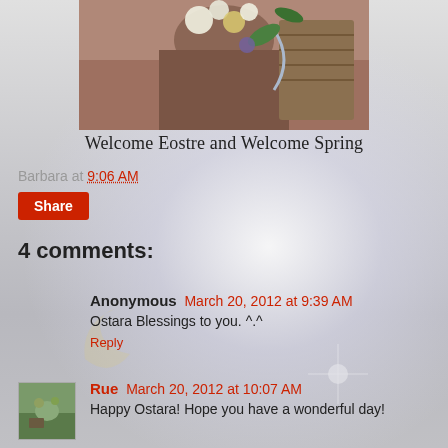[Figure (photo): Partial photo of a person holding flowers and a wicker basket, cropped at top]
Welcome Eostre and Welcome Spring
Barbara at 9:06 AM
Share
4 comments:
Anonymous March 20, 2012 at 9:39 AM
Ostara Blessings to you. ^.^
Reply
[Figure (photo): Small avatar photo of a garden scene for user Rue]
Rue March 20, 2012 at 10:07 AM
Happy Ostara! Hope you have a wonderful day!